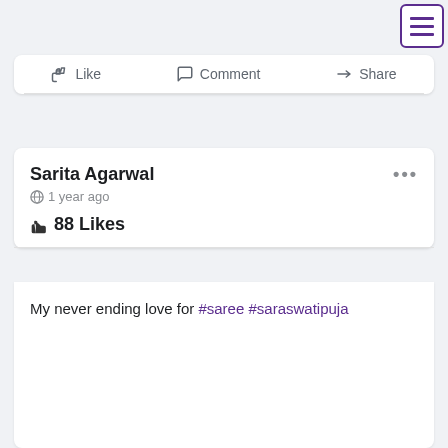[Figure (screenshot): Menu hamburger button with three horizontal lines, purple border]
Like   Comment   Share
Sarita Agarwal
1 year ago
88 Likes
My never ending love for #saree #saraswatipuja